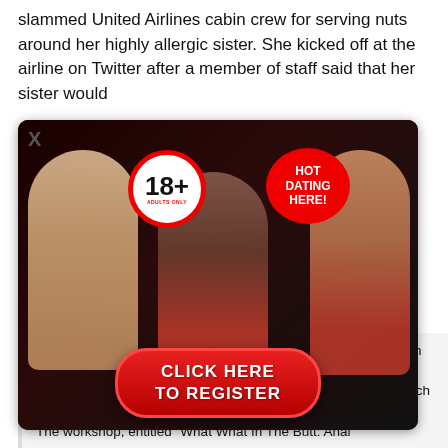slammed United Airlines cabin crew for serving nuts around her highly allergic sister. She kicked off at the airline on Twitter after a member of staff said that her sister would
[Figure (screenshot): An adult dating advertisement popup overlay with '18+ ADULTS ONLY' badge, 'HOT DATING HERE!' badge, three women in revealing outfits, and a red 'CLICK HERE TO REGISTER' button. An X close button is visible at top left.]
Summer' Clip Freeform's s slasher-flick series lets its young summer campers go for a dip before the killing starts in preview teaser According to College Fix, Harvard hosted an anal sex class, teaching students what they need to know about "putting things in your b... The workshop, entitled "What What In The Butt: Anal